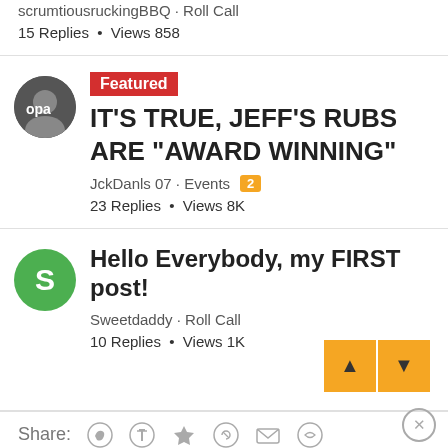scrumtiousruckingBBQ · Roll Call
15 Replies • Views 858
Featured
IT'S TRUE, JEFF'S RUBS ARE "AWARD WINNING"
JckDanls 07 · Events [2]
23 Replies • Views 8K
Hello Everybody, my FIRST post!
Sweetdaddy · Roll Call
10 Replies • Views 1K
Share: